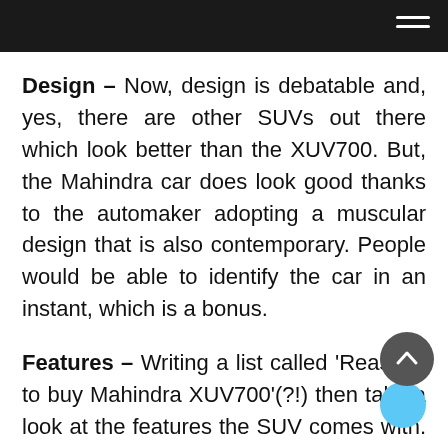Design – Now, design is debatable and, yes, there are other SUVs out there which look better than the XUV700. But, the Mahindra car does look good thanks to the automaker adopting a muscular design that is also contemporary. People would be able to identify the car in an instant, which is a bonus.
Features – Writing a list called 'Reasons to buy Mahindra XUV700'(?!) then take a look at the features the SUV comes with. Even the base MX grade features a 7-inch digital cluster, 8-inch infotainment system, LED tail lamps, smart door handles and Android Auto. Higher models have more goodies and the top model also comes…